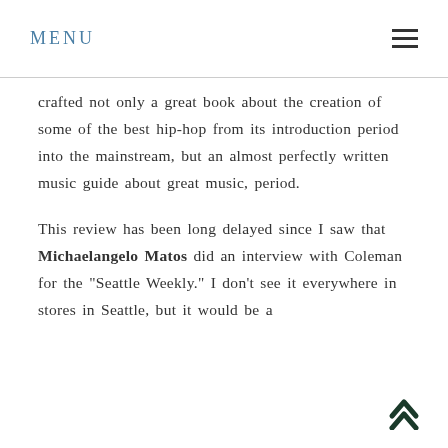MENU
crafted not only a great book about the creation of some of the best hip-hop from its introduction period into the mainstream, but an almost perfectly written music guide about great music, period.
This review has been long delayed since I saw that Michaelangelo Matos did an interview with Coleman for the "Seattle Weekly." I don't see it everywhere in stores in Seattle, but it would be a